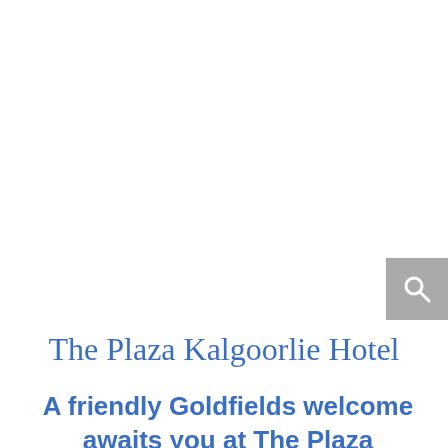[Figure (other): Search button icon with magnifying glass symbol on grey background, positioned at top right]
The Plaza Kalgoorlie Hotel
A friendly Goldfields welcome awaits you at The Plaza Kalgoorlie Hotel